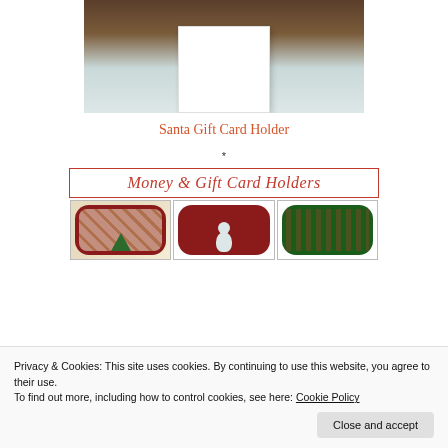[Figure (photo): Photo of a white folded greeting card leaning against a dark wood background on a light blue surface]
Santa Gift Card Holder
*
[Figure (photo): Money & Gift Card Holders banner with three Christmas-themed gift card holder designs below it]
Privacy & Cookies: This site uses cookies. By continuing to use this website, you agree to their use.
To find out more, including how to control cookies, see here: Cookie Policy
Close and accept